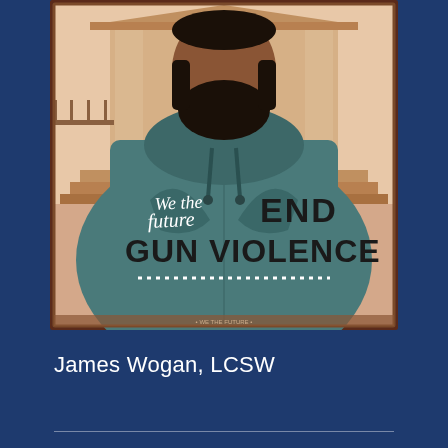[Figure (illustration): Illustrated poster-style artwork showing a bearded man wearing a teal/grey hoodie with text reading 'We the Future END GUN VIOLENCE' with white script and bold black lettering. Background shows a classical building with columns and steps. A row of white dots appears below the text. The illustration is framed with a brown/maroon border.]
James Wogan, LCSW